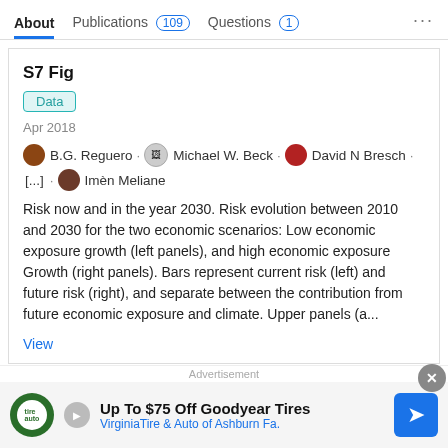About | Publications 109 | Questions 1
S7 Fig
Data
Apr 2018
B.G. Reguero · Michael W. Beck · David N Bresch · [...] · Imèn Meliane
Risk now and in the year 2030. Risk evolution between 2010 and 2030 for the two economic scenarios: Low economic exposure growth (left panels), and high economic exposure Growth (right panels). Bars represent current risk (left) and future risk (right), and separate between the contribution from future economic exposure and climate. Upper panels (a...
View
S2 Table
Advertisement
Up To $75 Off Goodyear Tires · VirginiaTire & Auto of Ashburn Fa.